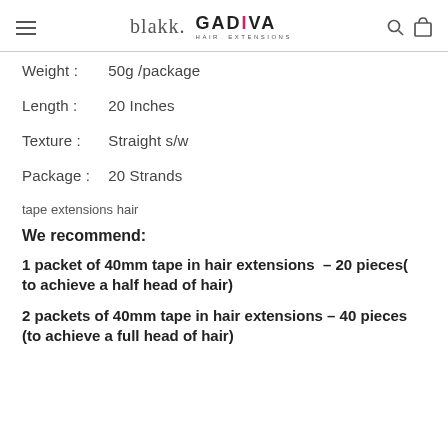blakk. GADIVA HAIR EXTENSIONS
Weight :   50g /package
Length :   20 Inches
Texture :   Straight s/w
Package :   20 Strands
tape extensions hair
We recommend:
1 packet of 40mm tape in hair extensions – 20 pieces( to achieve a half head of hair)
2 packets of 40mm tape in hair extensions – 40 pieces (to achieve a full head of hair)